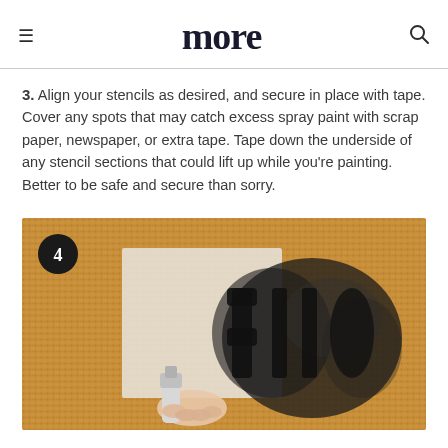more
3. Align your stencils as desired, and secure in place with tape. Cover any spots that may catch excess spray paint with scrap paper, newspaper, or extra tape. Tape down the underside of any stencil sections that could lift up while you're painting. Better to be safe and secure than sorry.
[Figure (photo): A hand holding a spray paint can applying black paint through a stencil onto a coir/jute doormat. The number 4 appears in a black circle badge in the top-left corner of the image.]